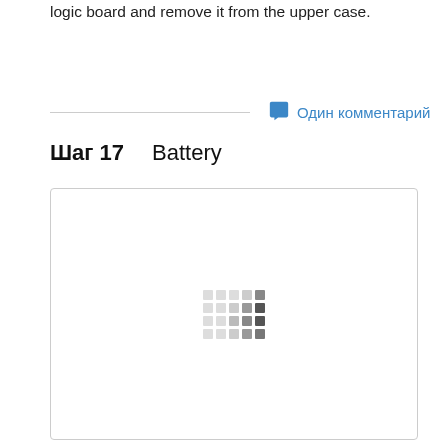logic board and remove it from the upper case.
Один комментарий
Шаг 17  Battery
[Figure (photo): Image area for Step 17 Battery - loading placeholder with dot grid pattern]